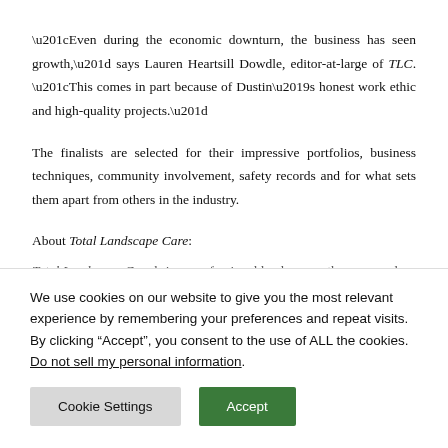“Even during the economic downturn, the business has seen growth,” says Lauren Heartsill Dowdle, editor-at-large of TLC. “This comes in part because of Dustin’s honest work ethic and high-quality projects.”
The finalists are selected for their impressive portfolios, business techniques, community involvement, safety records and for what sets them apart from others in the industry.
About Total Landscape Care:
Total Landscape Care brings professional landscapers the news and
We use cookies on our website to give you the most relevant experience by remembering your preferences and repeat visits. By clicking “Accept”, you consent to the use of ALL the cookies.
Do not sell my personal information.